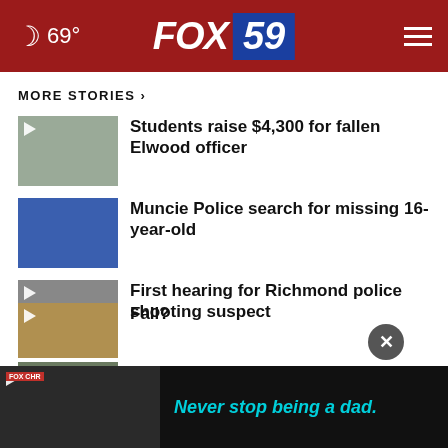69° FOX 59
MORE STORIES ›
Students raise $4,300 for fallen Elwood officer
Muncie Police search for missing 16-year-old
First hearing for Richmond police shooting suspect
Woman arrested after standoff that shutdown I-65
[Figure (screenshot): Ad banner: Never stop being a dad.]
Fall?